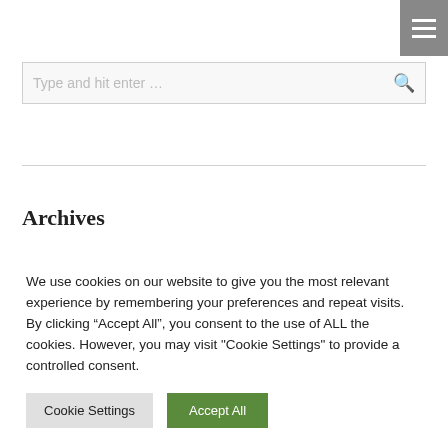[Figure (other): Hamburger menu icon button (three horizontal white lines on gray background) in the top-right corner]
[Figure (other): Search input bar with placeholder text 'Type and hit enter ...' and a search magnifying glass icon on the right]
Archives
Archives  Select Month
We use cookies on our website to give you the most relevant experience by remembering your preferences and repeat visits. By clicking “Accept All”, you consent to the use of ALL the cookies. However, you may visit "Cookie Settings" to provide a controlled consent.
Cookie Settings  Accept All